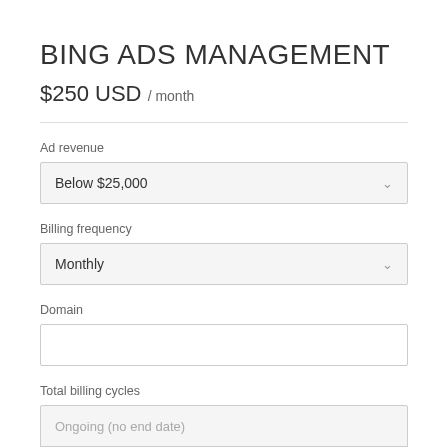BING ADS MANAGEMENT
$250 USD / month
Ad revenue
Below $25,000
Billing frequency
Monthly
Domain
Total billing cycles
Ongoing (no end date)